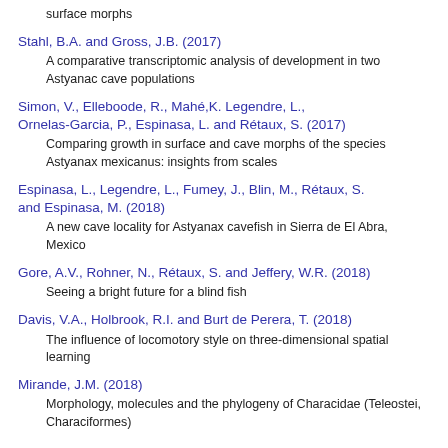surface morphs
Stahl, B.A. and Gross, J.B. (2017)
A comparative transcriptomic analysis of development in two Astyanac cave populations
Simon, V., Elleboode, R., Mahé,K. Legendre, L., Ornelas-Garcia, P., Espinasa, L. and Rétaux, S. (2017)
Comparing growth in surface and cave morphs of the species Astyanax mexicanus: insights from scales
Espinasa, L., Legendre, L., Fumey, J., Blin, M., Rétaux, S. and Espinasa, M. (2018)
A new cave locality for Astyanax cavefish in Sierra de El Abra, Mexico
Gore, A.V., Rohner, N., Rétaux, S. and Jeffery, W.R. (2018)
Seeing a bright future for a blind fish
Davis, V.A., Holbrook, R.I. and Burt de Perera, T. (2018)
The influence of locomotory style on three-dimensional spatial learning
Mirande, J.M. (2018)
Morphology, molecules and the phylogeny of Characidae (Teleostei, Characiformes)